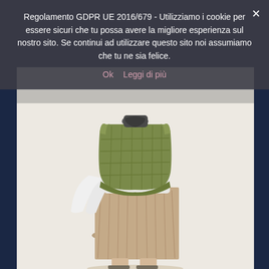[Figure (photo): A person viewed from behind wearing a quilted olive/khaki puffer vest over a white long-sleeve top, with a tan/beige pleated midi skirt and black heeled shoes. The background is off-white/cream.]
Regolamento GDPR UE 2016/679 - Utilizziamo i cookie per essere sicuri che tu possa avere la migliore esperienza sul nostro sito. Se continui ad utilizzare questo sito noi assumiamo che tu ne sia felice.
Ok   Leggi di più